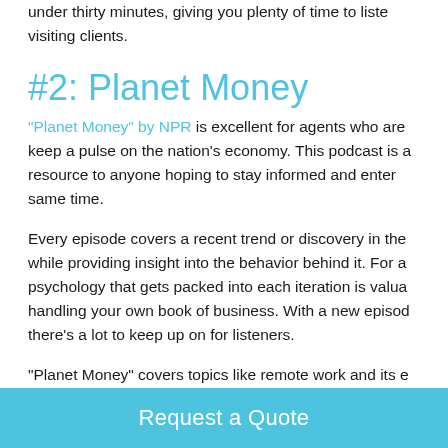under thirty minutes, giving you plenty of time to listen while visiting clients.
#2: Planet Money
"Planet Money" by NPR is excellent for agents who are looking to keep a pulse on the nation's economy. This podcast is a great resource to anyone hoping to stay informed and entertained at the same time.
Every episode covers a recent trend or discovery in the economy, while providing insight into the behavior behind it. For agents, the psychology that gets packed into each iteration is valuable when handling your own book of business. With a new episode each week, there's a lot to keep up on for listeners.
"Planet Money" covers topics like remote work and its effect on traditional office space, America's housing shortage over the years, and an explanation on how supply and demand affect...
Request a Quote